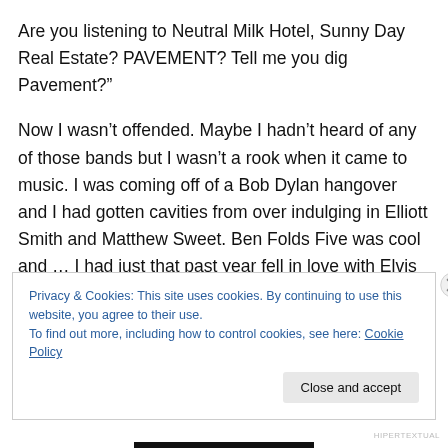Are you listening to Neutral Milk Hotel, Sunny Day Real Estate? PAVEMENT? Tell me you dig Pavement?"

Now I wasn't offended. Maybe I hadn't heard of any of those bands but I wasn't a rook when it came to music. I was coming off of a Bob Dylan hangover and I had gotten cavities from over indulging in Elliott Smith and Matthew Sweet. Ben Folds Five was cool and … I had just that past year fell in love with Elvis Costello's My Aim is True. I had just gotten a little off track. I had just gotten over a bad break up that allowed me to replace my relationship by
Privacy & Cookies: This site uses cookies. By continuing to use this website, you agree to their use.
To find out more, including how to control cookies, see here: Cookie Policy